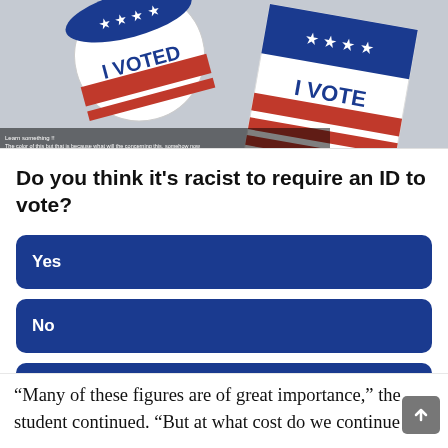[Figure (photo): Two 'I Voted' stickers with American flag design, red white and blue, on a light gray/white background]
Do you think it's racist to require an ID to vote?
Yes
No
I'm not sure
SPONSORED
“Many of these figures are of great importance,” the student continued. “But at what cost do we continue